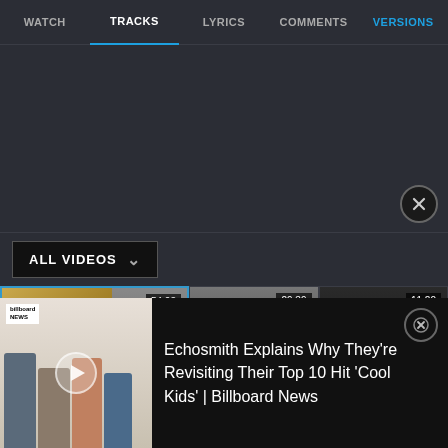WATCH | TRACKS | LYRICS | COMMENTS | VERSIONS
[Figure (screenshot): Dark content area below navigation tabs]
ALL VIDEOS
[Figure (screenshot): Video thumbnail 1: Sola Fide Faith Alone, duration 54:03]
[Figure (screenshot): Video thumbnail 2: Leighton Flower Violates, duration 29:39]
[Figure (screenshot): Video thumbnail 3: Person waving, duration 11:20]
[Figure (screenshot): Billboard News notification overlay with play button showing video thumbnail of people on couch]
Echosmith Explains Why They're Revisiting Their Top 10 Hit 'Cool Kids' | Billboard News